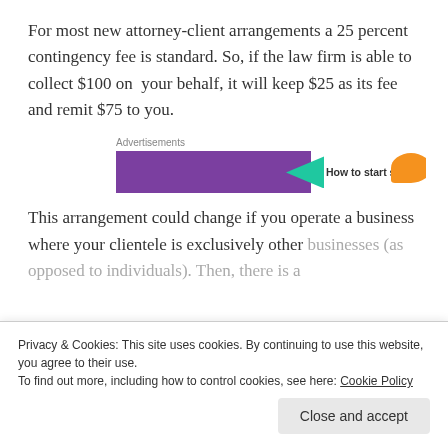For most new attorney-client arrangements a 25 percent contingency fee is standard. So, if the law firm is able to collect $100 on your behalf, it will keep $25 as its fee and remit $75 to you.
[Figure (other): Advertisement banner with purple background, teal arrow shape, text 'How to start selling' and an orange shape on the right]
This arrangement could change if you operate a business where your clientele is exclusively other businesses (as opposed to individuals). Then, there is a
Privacy & Cookies: This site uses cookies. By continuing to use this website, you agree to their use.
To find out more, including how to control cookies, see here: Cookie Policy